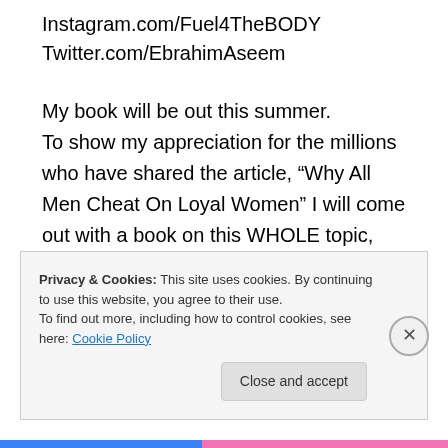Instagram.com/Fuel4TheBODY
Twitter.com/EbrahimAseem
My book will be out this summer. To show my appreciation for the millions who have shared the article, “Why All Men Cheat On Loyal Women” I will come out with a book on this WHOLE topic, including how to find your dream mate. Thank you for supporting my movement of changing the way women are respected in this world. This is only the beginning. #SpeakLife
Privacy & Cookies: This site uses cookies. By continuing to use this website, you agree to their use.
To find out more, including how to control cookies, see here: Cookie Policy
Close and accept